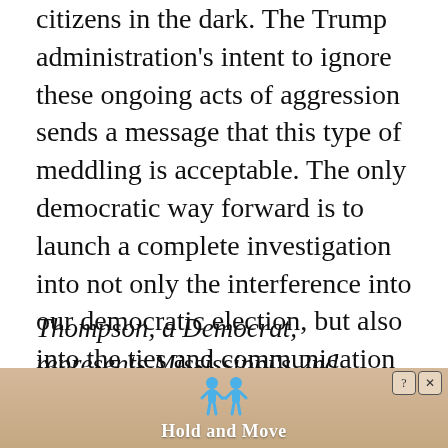citizens in the dark. The Trump administration's intent to ignore these ongoing acts of aggression sends a message that this type of meddling is acceptable. The only democratic way forward is to launch a complete investigation into not only the interference into our democratic election, but also into the ties and communication that this administration has had with Russia.
Thompson, a Democrat, represents Mississippi's 2nd Congressional District and is the ranking member on the House Committee on Homeland Security. He is also a member of
[Figure (other): Advertisement banner with peach/tan background showing two blue stick figures holding hands, with 'Hold and Move' text and a close/help button in top right corner]